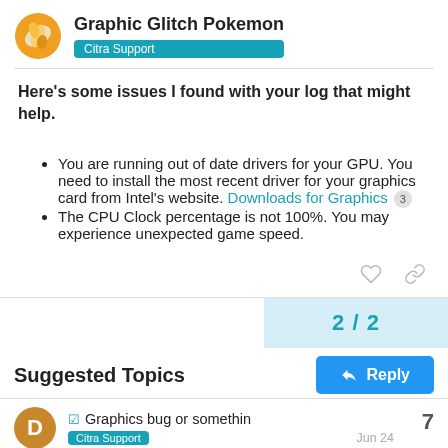Graphic Glitch Pokemon — Citra Support
Here's some issues I found with your log that might help.
You are running out of date drivers for your GPU. You need to install the most recent driver for your graphics card from Intel's website. Downloads for Graphics 3
The CPU Clock percentage is not 100%. You may experience unexpected game speed.
2 / 2
Reply
Suggested Topics
Graphics bug or somethin — Citra Support — 7 — Jun 24